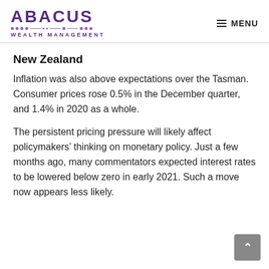ABACUS WEALTH MANAGEMENT | MENU
New Zealand
Inflation was also above expectations over the Tasman. Consumer prices rose 0.5% in the December quarter, and 1.4% in 2020 as a whole.
The persistent pricing pressure will likely affect policymakers’ thinking on monetary policy. Just a few months ago, many commentators expected interest rates to be lowered below zero in early 2021. Such a move now appears less likely.